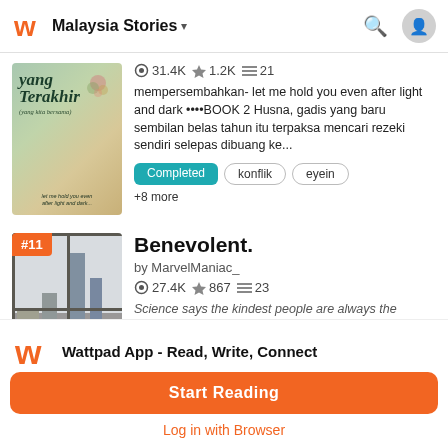Malaysia Stories
[Figure (screenshot): Book cover for 'Yang Terakhir' - a colorful illustrated cover with text]
31.4K  1.2K  21
mempersembahkan- let me hold you even after light and dark ••••BOOK 2 Husna, gadis yang baru sembilan belas tahun itu terpaksa mencari rezeki sendiri selepas dibuang ke...
Completed  konflik  eyein
+8 more
[Figure (screenshot): Book cover for 'Benevolent.' - monochrome photo of a cityscape viewed through a window]
Benevolent.
by MarvelManiac_
27.4K  867  23
Science says the kindest people are always the loneliest. The countries hate their jobs. Oh no, they loath it. It's so bl
Wattpad App - Read, Write, Connect
Start Reading
Log in with Browser